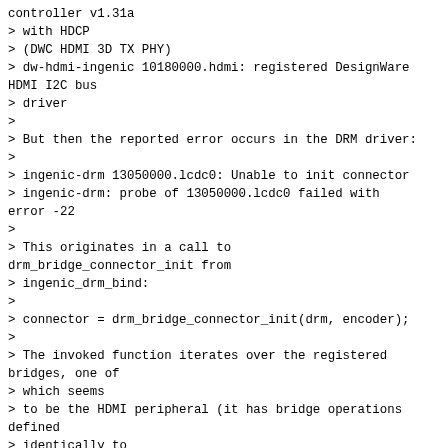controller v1.31a
> with HDCP
> (DWC HDMI 3D TX PHY)
> dw-hdmi-ingenic 10180000.hdmi: registered DesignWare HDMI I2C bus
> driver
>
> But then the reported error occurs in the DRM driver:
>
> ingenic-drm 13050000.lcdc0: Unable to init connector
> ingenic-drm: probe of 13050000.lcdc0 failed with error -22
>
> This originates in a call to drm_bridge_connector_init from
> ingenic_drm_bind:
>
> connector = drm_bridge_connector_init(drm, encoder);
>
> The invoked function iterates over the registered bridges, one of
> which seems
> to be the HDMI peripheral (it has bridge operations defined
> identically to
> those specified in the Synopsys driver), but the type member of the
> drm_bridge
> structure is set to 0 (DRM_MODE_CONNECTOR_Unknown).
>
> I might expect the bridge to express a type required